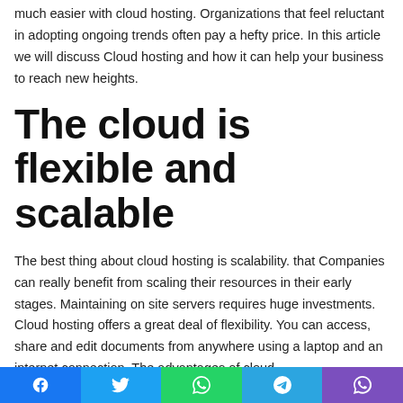much easier with cloud hosting. Organizations that feel reluctant in adopting ongoing trends often pay a hefty price. In this article we will discuss Cloud hosting and how it can help your business to reach new heights.
The cloud is flexible and scalable
The best thing about cloud hosting is scalability. that Companies can really benefit from scaling their resources in their early stages. Maintaining on site servers requires huge investments. Cloud hosting offers a great deal of flexibility. You can access, share and edit documents from anywhere using a laptop and an internet connection. The advantages of cloud
Social share bar with Facebook, Twitter, WhatsApp, Telegram, Viber icons